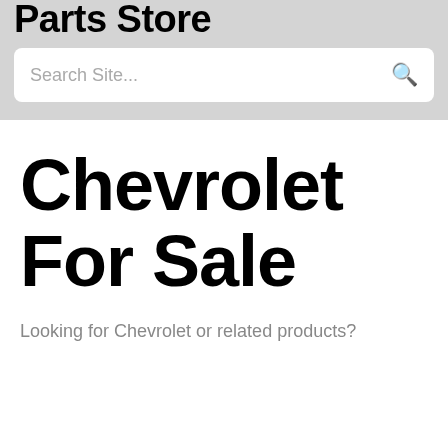Parts Store
Search Site...
Chevrolet For Sale
Looking for Chevrolet or related products?